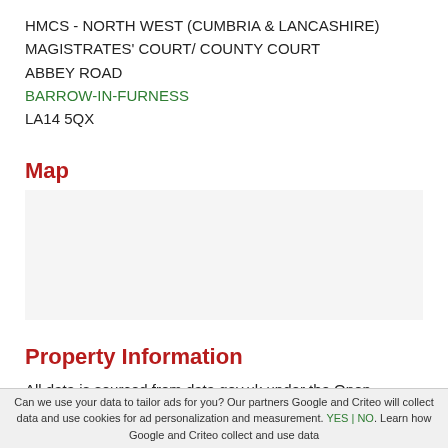HMCS - NORTH WEST (CUMBRIA & LANCASHIRE)
MAGISTRATES' COURT/ COUNTY COURT
ABBEY ROAD
BARROW-IN-FURNESS
LA14 5QX
Map
[Figure (map): Map area placeholder (empty map region)]
Property Information
All data is sourced from data.gov.uk under the Open Government
Can we use your data to tailor ads for you? Our partners Google and Criteo will collect data and use cookies for ad personalization and measurement. YES | NO. Learn how Google and Criteo collect and use data